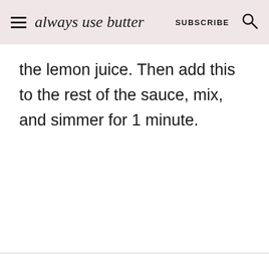always use butter | SUBSCRIBE
the lemon juice. Then add this to the rest of the sauce, mix, and simmer for 1 minute.